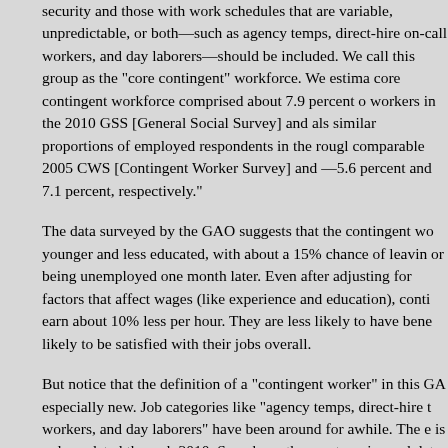security and those with work schedules that are variable, unpredictable, or both—such as agency temps, direct-hire on-call workers, and day laborers—should be included. We call this group as the "core contingent" workforce. We estimate core contingent workforce comprised about 7.9 percent of workers in the 2010 GSS [General Social Survey] and also similar proportions of employed respondents in the roughly comparable 2005 CWS [Contingent Worker Survey] and —5.6 percent and 7.1 percent, respectively."
The data surveyed by the GAO suggests that the contingent workforce is younger and less educated, with about a 15% chance of leaving a job or being unemployed one month later. Even after adjusting for other factors that affect wages (like experience and education), contingent workers earn about 10% less per hour. They are less likely to have benefits and less likely to be satisfied with their jobs overall.
But notice that the definition of a "contingent worker" in this GAO report isn't especially new. Job categories like "agency temps, direct-hire temps, on-call workers, and day laborers" have been around for awhile. The evidence is only updated through 2010. Somehow, these categories and this survey data don't quite seem to cover what it means to work for a com